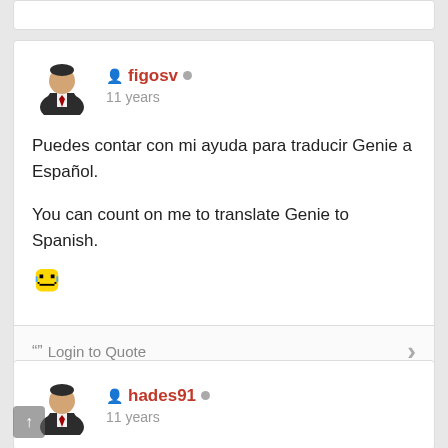[Figure (other): Partial top of a previous comment card, cut off at top of page]
[Figure (other): User avatar for figosv - illustrated person in suit]
figosv
11 years
Puedes contar con mi ayuda para traducir Genie a Español.

You can count on me to translate Genie to Spanish.
[Figure (other): Laughing emoji face (pixel art style smiley with tears of joy)]
" " Login to Quote
[Figure (other): User avatar for hades91 - illustrated person in suit]
hades91
11 years